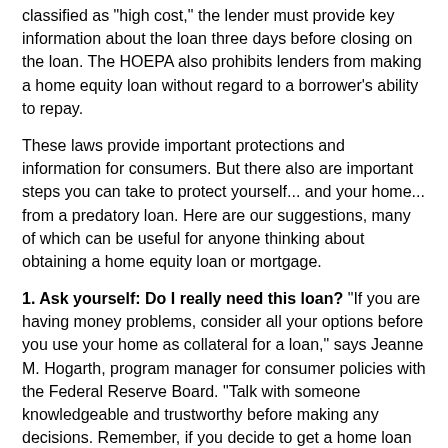classified as "high cost," the lender must provide key information about the loan three days before closing on the loan. The HOEPA also prohibits lenders from making a home equity loan without regard to a borrower's ability to repay.
These laws provide important protections and information for consumers. But there also are important steps you can take to protect yourself... and your home... from a predatory loan. Here are our suggestions, many of which can be useful for anyone thinking about obtaining a home equity loan or mortgage.
1. Ask yourself: Do I really need this loan? "If you are having money problems, consider all your options before you use your home as collateral for a loan," says Jeanne M. Hogarth, program manager for consumer policies with the Federal Reserve Board. "Talk with someone knowledgeable and trustworthy before making any decisions. Remember, if you decide to get a home loan and can't make the payments, the lender could foreclose and you could lose your home."
Hogarth says among the resources you may wish to consult are your lenders, a reputable credit counseling service in your community, and a local social services agency. There also are housing counseling agencies that offer advice on everything from